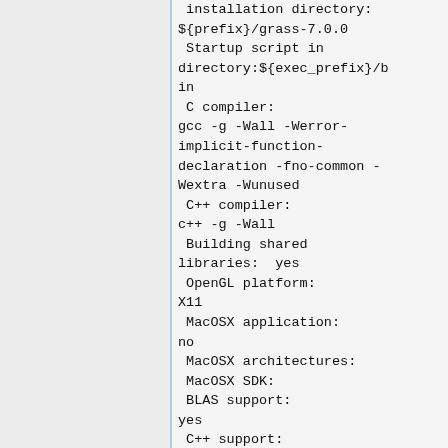installation directory: ${prefix}/grass-7.0.0
 Startup script in directory:${exec_prefix}/bin
 C compiler:
gcc -g -Wall -Werror-implicit-function-declaration -fno-common -Wextra -Wunused
 C++ compiler:
c++ -g -Wall
 Building shared libraries:  yes
 OpenGL platform:
X11
 MacOSX application:
no
 MacOSX architectures:
 MacOSX SDK:
 BLAS support:
yes
 C++ support:
yes
 Cairo support: